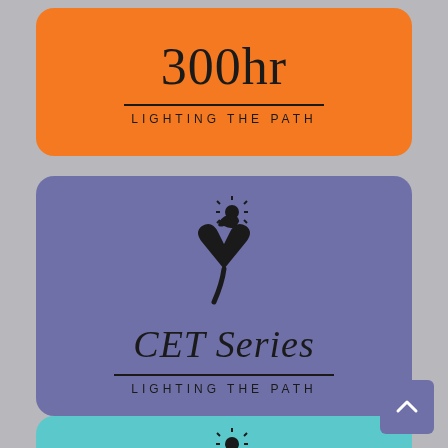[Figure (logo): Orange rounded card with '300hr' in large text, horizontal divider, and 'LIGHTING THE PATH' subtitle in spaced caps]
[Figure (logo): Purple rounded card with heart/bird logo icon, 'CET Series' in large italic serif, horizontal divider, and 'LIGHTING THE PATH' subtitle]
[Figure (logo): Teal/cyan rounded card (partially visible) with heart/bird logo icon, partially cut off at bottom]